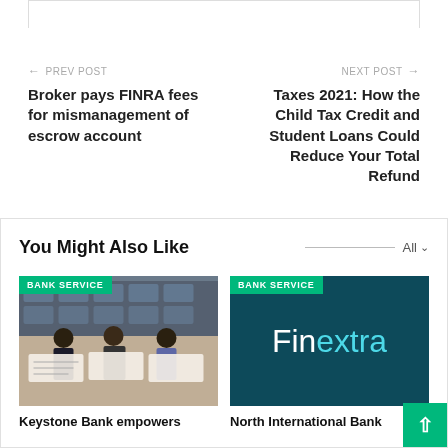← PREV POST
Broker pays FINRA fees for mismanagement of escrow account
NEXT POST →
Taxes 2021: How the Child Tax Credit and Student Loans Could Reduce Your Total Refund
You Might Also Like
[Figure (photo): Photo of people holding cheques at a branded event backdrop, with BANK SERVICE badge]
Keystone Bank empowers
[Figure (logo): Finextra logo on dark teal background with BANK SERVICE badge]
North International Bank